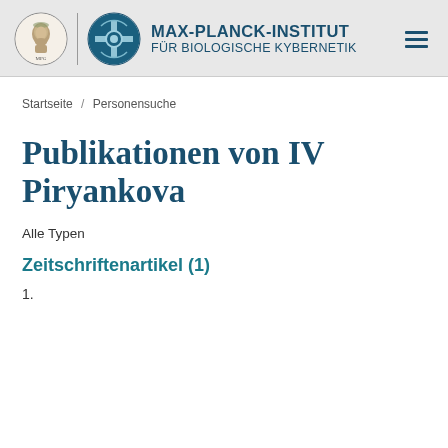[Figure (logo): Max-Planck-Institut für Biologische Kybernetik logo with Minerva head and geometric emblem]
MAX-PLANCK-INSTITUT FÜR BIOLOGISCHE KYBERNETIK
Startseite / Personensuche
Publikationen von IV Piryankova
Alle Typen
Zeitschriftenartikel (1)
1.